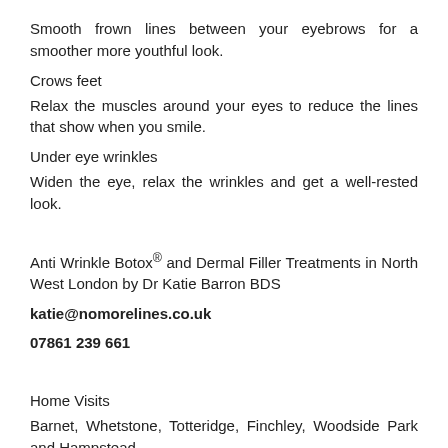Smooth frown lines between your eyebrows for a smoother more youthful look.
Crows feet
Relax the muscles around your eyes to reduce the lines that show when you smile.
Under eye wrinkles
Widen the eye, relax the wrinkles and get a well-rested look.
Anti Wrinkle Botox® and Dermal Filler Treatments in North West London by Dr Katie Barron BDS
katie@nomorelines.co.uk
07861 239 661
Home Visits
Barnet, Whetstone, Totteridge, Finchley, Woodside Park and Hampstead